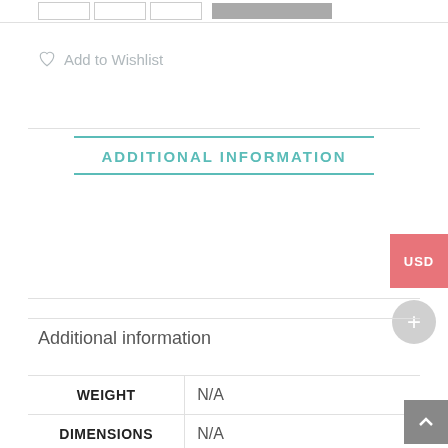Add to Wishlist
ADDITIONAL INFORMATION
Additional information
|  |  |
| --- | --- |
| WEIGHT | N/A |
| DIMENSIONS | N/A |